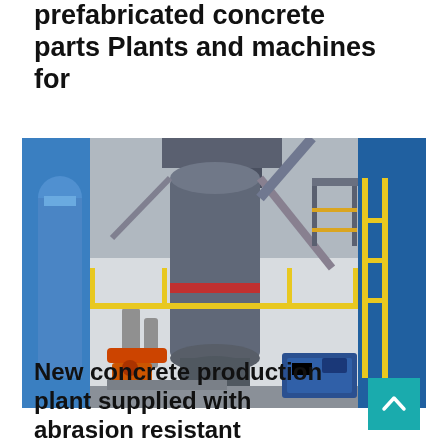prefabricated concrete parts Plants and machines for
[Figure (photo): Industrial concrete production plant with large cylindrical mixer/separator tower in grey, blue structural walls on either side, yellow safety railings, orange machinery arm at lower left, blue hydraulic unit at lower right, scaffolding and overhead structures visible.]
New concrete production plant supplied with abrasion resistant